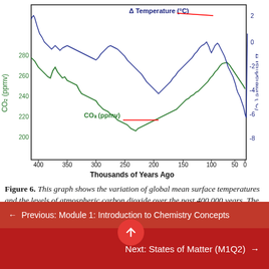[Figure (continuous-plot): Dual y-axis line chart showing variation of global mean surface temperatures (delta Temperature in °C, blue line, right axis) and atmospheric CO2 levels (CO2 in ppmv, green line, left axis) over the past 400,000 years. X-axis: Thousands of Years Ago (400 to 0). Left y-axis: CO2 (ppmv) ranging ~200–280. Right y-axis: Delta Temperature (°C) ranging -8 to 2. Red annotation arrows point to each line label.]
Figure 6. This graph shows the variation of global mean surface temperatures and the levels of atmospheric carbon dioxide over the past 400,000 years. The data are displayed on a double-y graph with temperature displayed on the right-hand vertical axis and carbon
← Previous: Module 1: Introduction to Chemistry Concepts
Next: States of Matter (M1Q2) →